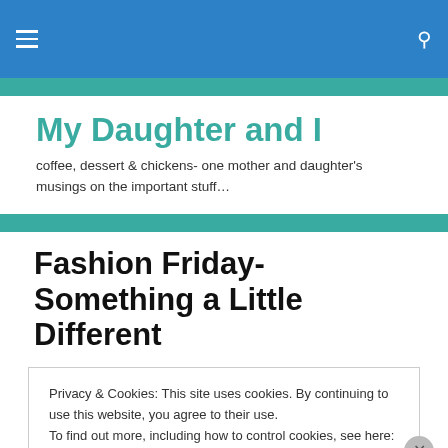My Daughter and I
coffee, dessert & chickens- one mother and daughter's musings on the important stuff…
Fashion Friday- Something a Little Different
Privacy & Cookies: This site uses cookies. By continuing to use this website, you agree to their use.
To find out more, including how to control cookies, see here: Cookie Policy
Close and accept